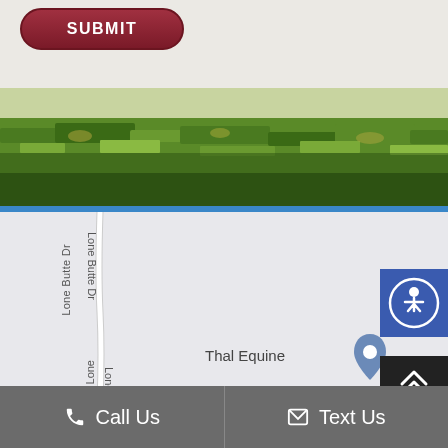[Figure (screenshot): Submit button on light beige background, dark red pill-shaped button with white text SUBMIT]
[Figure (photo): Grass field photo strip showing green grass close-up]
[Figure (map): Map showing Lone Butte Dr road with Thal Equine location marker, accessibility icon button, and scroll-to-top button]
Call Us
Text Us